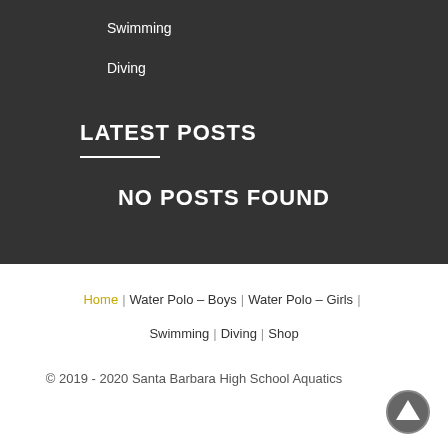Swimming
Diving
LATEST POSTS
NO POSTS FOUND
Home | Water Polo – Boys | Water Polo – Girls | Swimming | Diving | Shop
© 2019 - 2020 Santa Barbara High School Aquatics